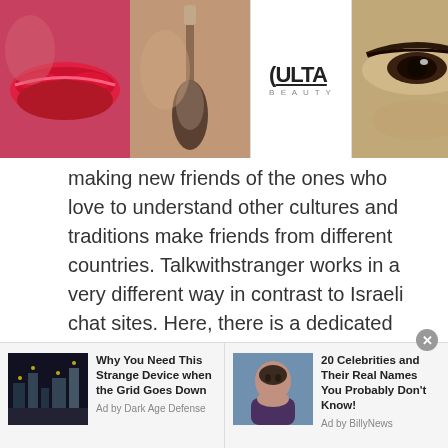[Figure (other): Ulta Beauty advertisement banner with makeup images (lips, brush, eyes) and SHOP NOW text]
making new friends of the ones who love to understand other cultures and traditions make friends from different countries. Talkwithstranger works in a very different way in contrast to Israeli chat sites. Here, there is a dedicated chat room for people who are seeking to make new friends. Further these people can also video chat with random people of Israel after being friends with Israeli people.
Stranger Chat:
[Figure (other): Bottom advertisement bar with two sponsored content items: 'Why You Need This Strange Device when the Grid Goes Down' by Dark Age Defense, and '20 Celebrities and Their Real Names You Probably Don't Know!' by BillyNews]